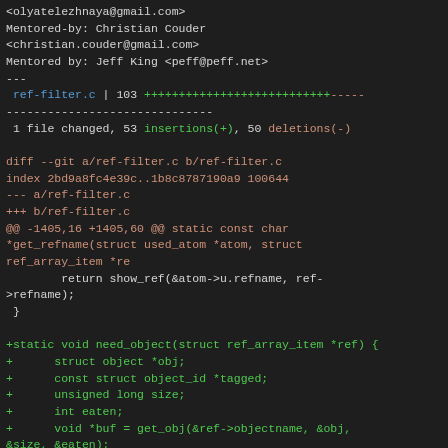<olyatelezhnaya@gmail.com>
Mentored-by: Christian Couder
<christian.couder@gmail.com>
Mentored by: Jeff King <peff@peff.net>
---
 ref-filter.c | 103 ++++++++++++++++++++++++++-----
------------------------------
 1 file changed, 53 insertions(+), 50 deletions(-)

diff --git a/ref-filter.c b/ref-filter.c
index 2bd9a8fc4e39c..1b8c8787190a9 100644
--- a/ref-filter.c
+++ b/ref-filter.c
@@ -1405,16 +1405,60 @@ static const char
*get_refname(struct used_atom *atom, struct
ref_array_item *re
        return show_ref(&atom->u.refname, ref-
>refname);
 }

+static void need_object(struct ref_array_item *ref) {
+      struct object *obj;
+      const struct object_id *tagged;
+      unsigned long size;
+      int eaten;
+      void *buf = get_obj(&ref->objectname, &obj,
&size, &eaten);
+      if (!buf)
+              die(_("missing object %s for %s"),
+              oid_to_hex(&ref->objectname), ref-